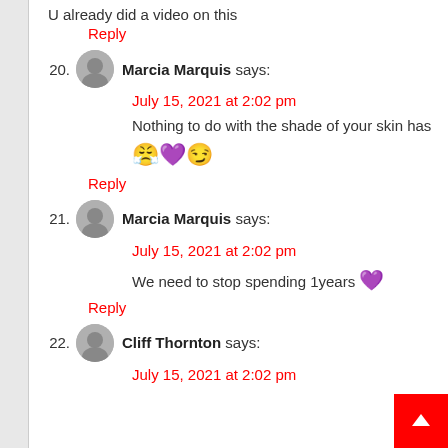U already did a video on this
Reply
20. Marcia Marquis says:
July 15, 2021 at 2:02 pm
Nothing to do with the shade of your skin has 😤💜😏
Reply
21. Marcia Marquis says:
July 15, 2021 at 2:02 pm
We need to stop spending 1years 💜
Reply
22. Cliff Thornton says:
July 15, 2021 at 2:02 pm